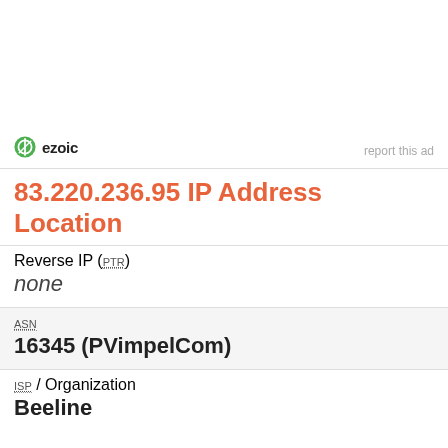[Figure (logo): Ezoic logo with green circular icon and bold 'ezoic' wordmark, plus 'report this ad' link on the right]
83.220.236.95 IP Address Location
Reverse IP (PTR)
none
ASN
16345 (PVimpelCom)
ISP / Organization
Beeline